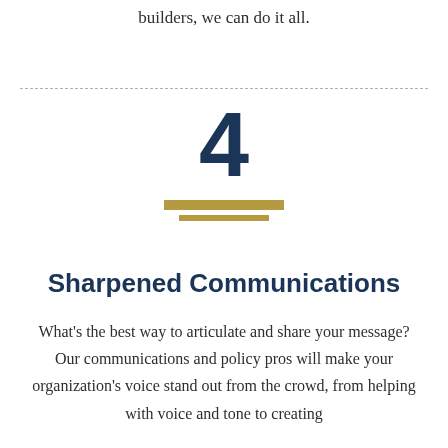builders, we can do it all.
[Figure (infographic): Large bold number '4' in dark navy blue with two gold horizontal bars beneath it, forming a decorative divider element.]
Sharpened Communications
What’s the best way to articulate and share your message? Our communications and policy pros will make your organization’s voice stand out from the crowd, from helping with voice and tone to creating